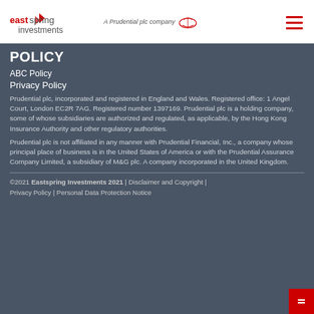eastspring investments | A Prudential plc company
POLICY
ABC Policy
Privacy Policy
Prudential plc, incorporated and registered in England and Wales. Registered office: 1 Angel Court, London EC2R 7AG. Registered number 1397169. Prudential plc is a holding company, some of whose subsidiaries are authorized and regulated, as applicable, by the Hong Kong Insurance Authority and other regulatory authorities.
Prudential plc is not affiliated in any manner with Prudential Financial, Inc., a company whose principal place of business is in the United States of America or with the Prudential Assurance Company Limited, a subsidiary of M&G plc. A company incorporated in the United Kingdom.
©2021 Eastspring Investments 2021 | Disclaimer and Copyright | Privacy Policy | Personal Data Protection Notice